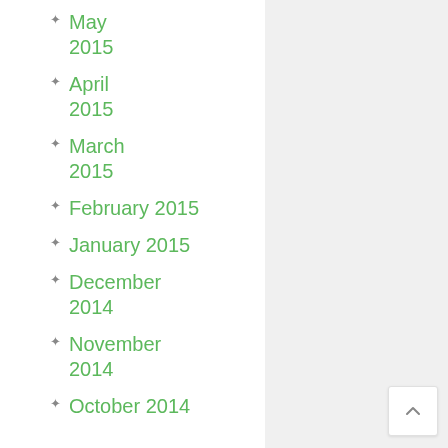May 2015
April 2015
March 2015
February 2015
January 2015
December 2014
November 2014
October 2014